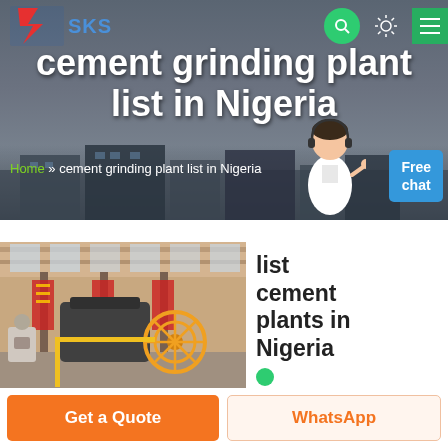[Figure (screenshot): SKS company logo with red and blue geometric design and 'SKS' text in blue]
SKS - cement grinding plant list in Nigeria
cement grinding plant list in Nigeria
Home » cement grinding plant list in Nigeria
[Figure (photo): Industrial factory interior with heavy machinery, yellow safety guards, and cement plant equipment]
list cement plants in Nigeria
Get a Quote
WhatsApp